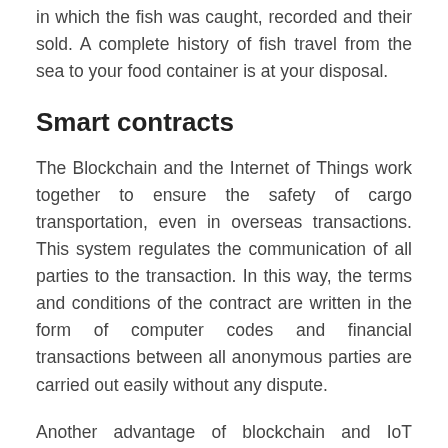in which the fish was caught, recorded and their sold. A complete history of fish travel from the sea to your food container is at your disposal.
Smart contracts
The Blockchain and the Internet of Things work together to ensure the safety of cargo transportation, even in overseas transactions. This system regulates the communication of all parties to the transaction. In this way, the terms and conditions of the contract are written in the form of computer codes and financial transactions between all anonymous parties are carried out easily without any dispute.
Another advantage of blockchain and IoT technologies is the minimization of paperwork and office work. There are currently many intermediaries in the process of moving a container from one place to another. Because most